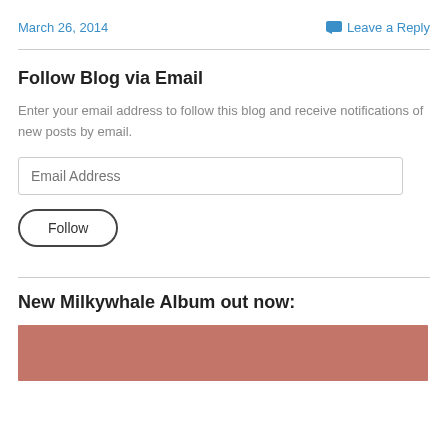March 26, 2014
Leave a Reply
Follow Blog via Email
Enter your email address to follow this blog and receive notifications of new posts by email.
Email Address
Follow
New Milkywhale Album out now:
[Figure (photo): Album cover image with reddish/salmon colored background, partially visible]